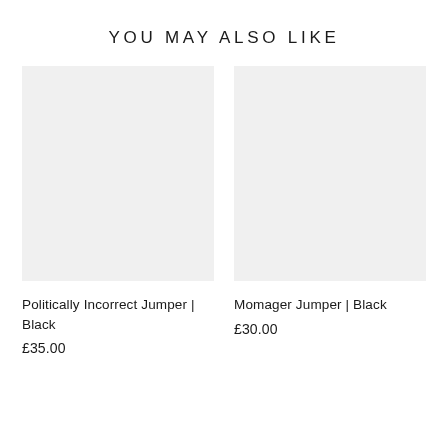YOU MAY ALSO LIKE
[Figure (photo): Gray placeholder rectangle for product image: Politically Incorrect Jumper | Black]
Politically Incorrect Jumper | Black
£35.00
[Figure (photo): Gray placeholder rectangle for product image: Momager Jumper | Black]
Momager Jumper | Black
£30.00